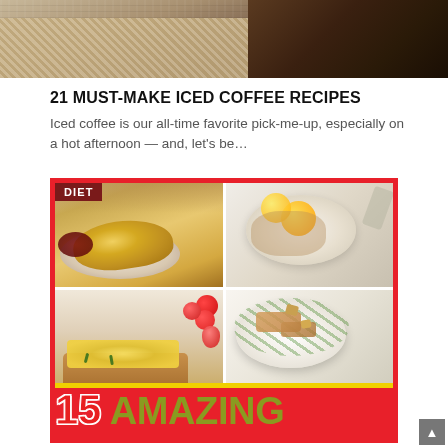[Figure (photo): Top portion of a photo showing burlap/textile texture and dark wooden surface]
21 MUST-MAKE ICED COFFEE RECIPES
Iced coffee is our all-time favorite pick-me-up, especially on a hot afternoon — and, let's be…
[Figure (photo): Food collage with red border and DIET badge: four food photos showing croissant with jam, fruit salad in bowl, scrambled eggs on toast with tomatoes, and Caesar salad. Bottom has yellow bar and large text '15 AMAZING']